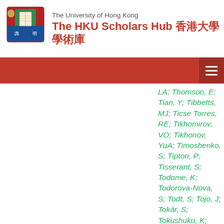The University of Hong Kong — The HKU Scholars Hub 香港大學學術庫
LA; Thomson, E; Tian, Y; Tibbetts, MJ; Ticse Torres, RE; Tikhomirov, VO; Tikhonov, YuA; Timoshenko, S; Tipton, P; Tisserant, S; Todome, K; Todorova-Nova, S; Todt, S; Tojo, J; Tokár, S; Tokushuku, K; Tolley, E; Tomlinson, L; Tomoto, M;